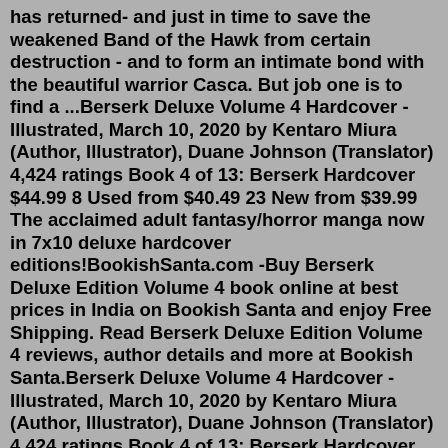has returned- and just in time to save the weakened Band of the Hawk from certain destruction - and to form an intimate bond with the beautiful warrior Casca. But job one is to find a ...Berserk Deluxe Volume 4 Hardcover - Illustrated, March 10, 2020 by Kentaro Miura (Author, Illustrator), Duane Johnson (Translator) 4,424 ratings Book 4 of 13: Berserk Hardcover $44.99 8 Used from $40.49 23 New from $39.99 The acclaimed adult fantasy/horror manga now in 7x10 deluxe hardcover editions!BookishSanta.com -Buy Berserk Deluxe Edition Volume 4 book online at best prices in India on Bookish Santa and enjoy Free Shipping. Read Berserk Deluxe Edition Volume 4 reviews, author details and more at Bookish Santa.Berserk Deluxe Volume 4 Hardcover - Illustrated, March 10, 2020 by Kentaro Miura (Author, Illustrator), Duane Johnson (Translator) 4,424 ratings Book 4 of 13: Berserk Hardcover $44.99 8 Used from $40.49 23 New from $39.99 The acclaimed adult fantasy/horror manga now in 7x10 deluxe hardcover editions [link]